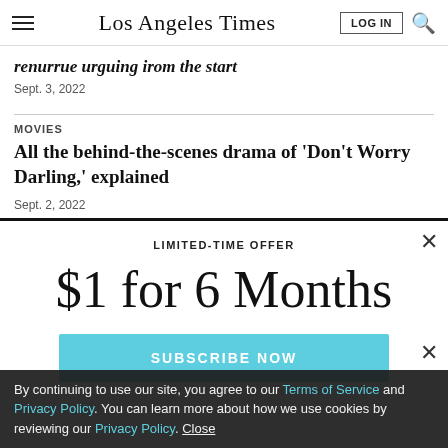Los Angeles Times | LOG IN | Search
renurrue urguing irom the start
Sept. 3, 2022
MOVIES
All the behind-the-scenes drama of 'Don't Worry Darling,' explained
Sept. 2, 2022
LIMITED-TIME OFFER
$1 for 6 Months
SUBSCRIBE NOW
By continuing to use our site, you agree to our Terms of Service and Privacy Policy. You can learn more about how we use cookies by reviewing our Privacy Policy. Close